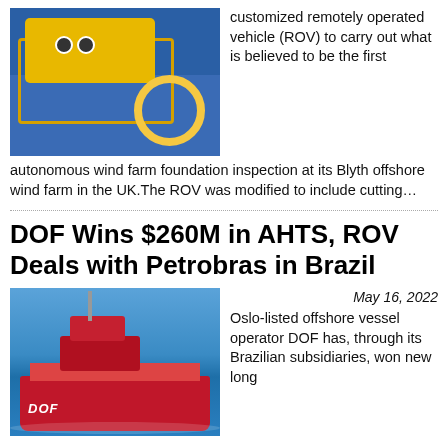[Figure (photo): Yellow ROV (remotely operated vehicle) on the deck of a vessel, with a yellow hose reel visible to the right, on a blue deck surface.]
customized remotely operated vehicle (ROV) to carry out what is believed to be the first autonomous wind farm foundation inspection at its Blyth offshore wind farm in the UK.The ROV was modified to include cutting…
DOF Wins $260M in AHTS, ROV Deals with Petrobras in Brazil
[Figure (photo): Aerial view of a red offshore vessel (DOF) sailing in blue ocean waters.]
May 16, 2022
Oslo-listed offshore vessel operator DOF has, through its Brazilian subsidiaries, won new long...